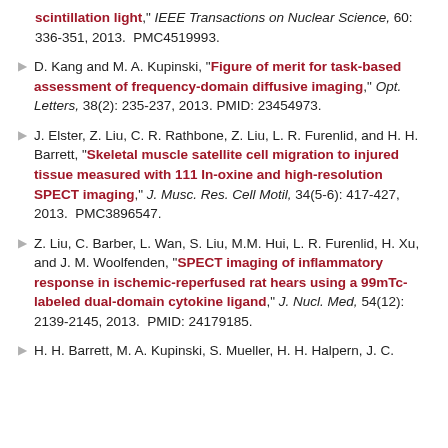scintillation light," IEEE Transactions on Nuclear Science, 60: 336-351, 2013.  PMC4519993.
D. Kang and M. A. Kupinski, "Figure of merit for task-based assessment of frequency-domain diffusive imaging," Opt. Letters, 38(2): 235-237, 2013. PMID: 23454973.
J. Elster, Z. Liu, C. R. Rathbone, Z. Liu, L. R. Furenlid, and H. H. Barrett, "Skeletal muscle satellite cell migration to injured tissue measured with 111 In-oxine and high-resolution SPECT imaging," J. Musc. Res. Cell Motil, 34(5-6): 417-427, 2013.  PMC3896547.
Z. Liu, C. Barber, L. Wan, S. Liu, M.M. Hui, L. R. Furenlid, H. Xu, and J. M. Woolfenden, "SPECT imaging of inflammatory response in ischemic-reperfused rat hears using a 99mTc-labeled dual-domain cytokine ligand," J. Nucl. Med, 54(12): 2139-2145, 2013.  PMID: 24179185.
H. H. Barrett, M. A. Kupinski, S. Mueller, H. H. Halpern, J. C. ...